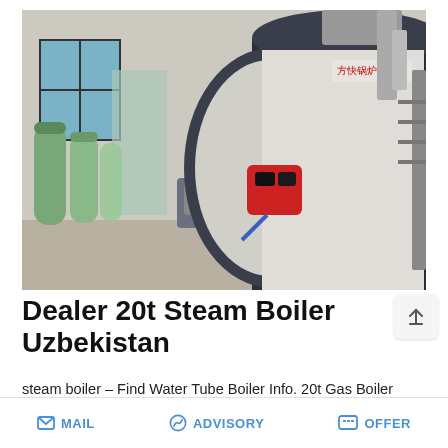[Figure (photo): Industrial steam boiler installation inside a factory building. Large cylindrical dark-colored boiler with red burner attachment on the front, white rectangular top section with Chinese text logo. Left side shows green water treatment vessels/filters. Background has large windows and grey walls.]
Dealer 20t Steam Boiler Uzbekistan
steam boiler – Find Water Tube Boiler Info. 20t Gas Boiler ...ercial Armenia industrial gas fired ...s dealer in Agent 6t Natural fired
MAIL   ADVISORY   OFFER